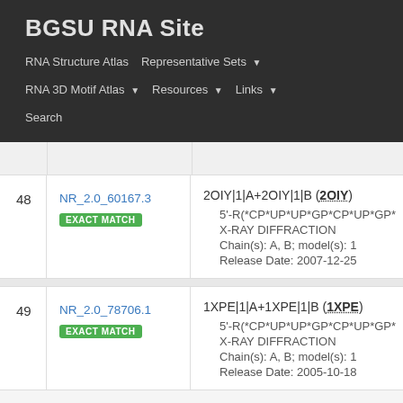BGSU RNA Site
RNA Structure Atlas | Representative Sets ▼ | RNA 3D Motif Atlas ▼ | Resources ▼ | Links ▼ | Search
| # | ID | Details |
| --- | --- | --- |
| 48 | NR_2.0_60167.3 EXACT MATCH | 2OIY|1|A+2OIY|1|B (2OIY)
• 5'-R(*CP*UP*UP*GP*CP*UP*GP*AP*AP*G...
• X-RAY DIFFRACTION
• Chain(s): A, B; model(s): 1
• Release Date: 2007-12-25 |
| 49 | NR_2.0_78706.1 EXACT MATCH | 1XPE|1|A+1XPE|1|B (1XPE)
• 5'-R(*CP*UP*UP*GP*CP*UP*GP*AP*AP*G...
• X-RAY DIFFRACTION
• Chain(s): A, B; model(s): 1
• Release Date: 2005-10-18 |